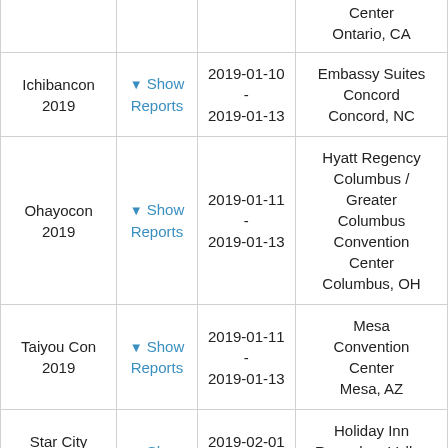| Convention | Reports | Dates | Location |
| --- | --- | --- | --- |
|  |  |  | Center
Ontario, CA |
| Ichibancon 2019 | Show Reports | 2019-01-10 - 2019-01-13 | Embassy Suites Concord
Concord, NC |
| Ohayocon 2019 | Show Reports | 2019-01-11 - 2019-01-13 | Hyatt Regency Columbus / Greater Columbus Convention Center
Columbus, OH |
| Taiyou Con 2019 | Show Reports | 2019-01-11 - 2019-01-13 | Mesa Convention Center
Mesa, AZ |
| Star City Anime 2019 | Show Reports | 2019-02-01 - 2019-02-03 | Holiday Inn Roanoke - Valley View
Roanoke, VA |